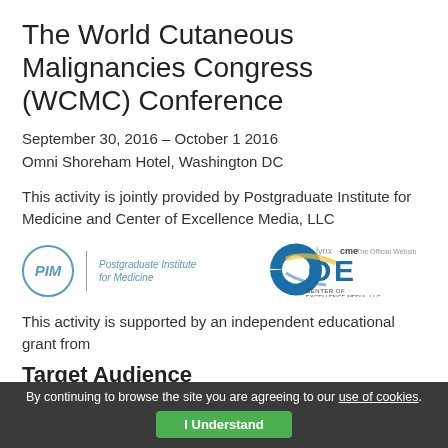The World Cutaneous Malignancies Congress (WCMC) Conference
September 30, 2016 – October 1 2016
Omni Shoreham Hotel, Washington DC
This activity is jointly provided by Postgraduate Institute for Medicine and Center of Excellence Media, LLC
[Figure (logo): PIM (Postgraduate Institute for Medicine) logo with blue circle and COE (Center of Excellence Media, LLC) logo with lynxcme branding]
This activity is supported by an independent educational grant from
Target Audience
By continuing to browse the site you are agreeing to our use of cookies.